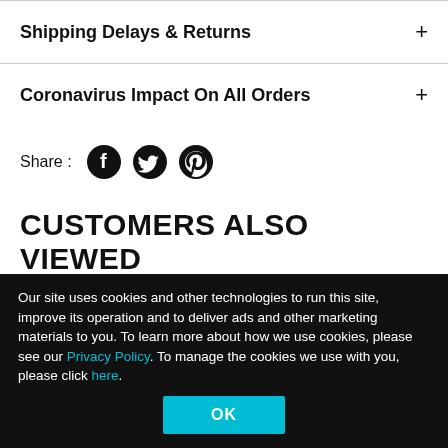Shipping Delays & Returns
Coronavirus Impact On All Orders
Share :
CUSTOMERS ALSO VIEWED
[Figure (photo): Anime figurine in red outfit holding a weapon]
[Figure (photo): Anime figurine in cheerleader outfit holding pom poms]
Our site uses cookies and other technologies to run this site, improve its operation and to deliver ads and other marketing materials to you. To learn more about how we use cookies, please see our Privacy Policy. To manage the cookies we use with you, please click here.
OK